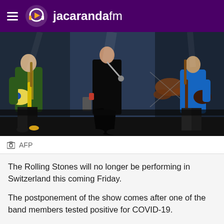jacarandafm
[Figure (photo): The Rolling Stones band members performing on stage. Left: guitarist in green jacket with yellow guitar. Center: vocalist in black outfit. Right: guitarist in blue shirt. Drum kit visible in background.]
AFP
The Rolling Stones will no longer be performing in Switzerland this coming Friday.
The postponement of the show comes after one of the band members tested positive for COVID-19.
Mick Jagger, the lead vocalist and one of the founder members